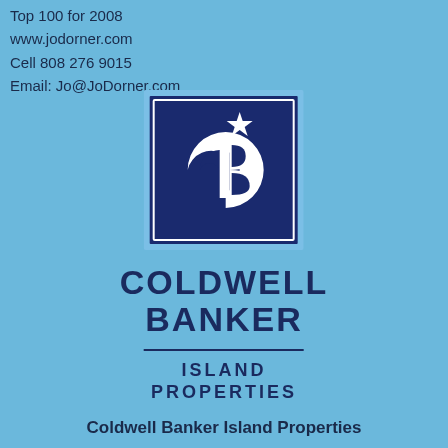Top 100 for 2008
www.jodorner.com
Cell 808 276 9015
Email: Jo@JoDorner.com
[Figure (logo): Coldwell Banker logo: dark navy blue square with white CB monogram and star, surrounded by a thin border. Below: COLDWELL BANKER in large bold navy letters, a horizontal rule, then ISLAND PROPERTIES in smaller bold navy letters.]
Coldwell Banker Island Properties